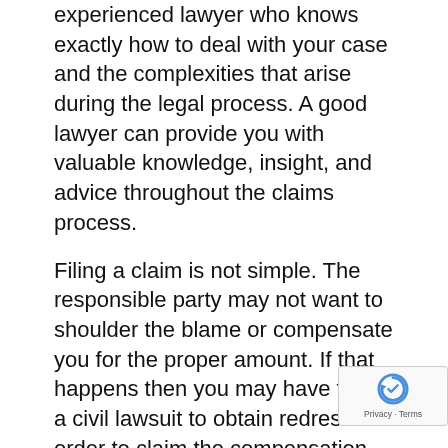experienced lawyer who knows exactly how to deal with your case and the complexities that arise during the legal process. A good lawyer can provide you with valuable knowledge, insight, and advice throughout the claims process.
Filing a claim is not simple. The responsible party may not want to shoulder the blame or compensate you for the proper amount. If that happens then you may have to file a civil lawsuit to obtain redress. In order to claim the compensation that you deserve, hire a personal injury lawyer who has extensive experience in handling these kinds of cases, not a general practice attorney or your friend who is an attorney. You need someone who specializes in injury cases. If you are hesitant, here are the reasons why you should hire one.
First, a personal injury lawyer knows how to handle personal injury claims. They know how to deal with the complexities that come with